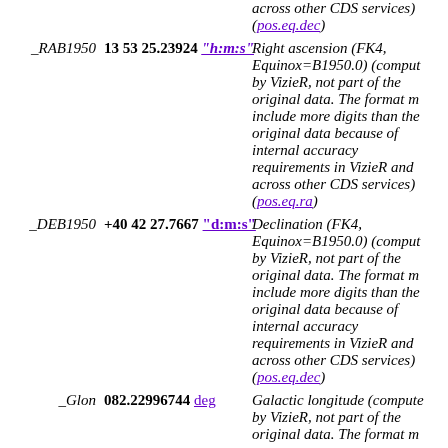across other CDS services) (pos.eq.dec)
_RAB1950   13 53 25.23924 "h:m:s"  Right ascension (FK4, Equinox=B1950.0) (computed by VizieR, not part of the original data. The format may include more digits than the original data because of internal accuracy requirements in VizieR and across other CDS services) (pos.eq.ra)
_DEB1950   +40 42 27.7667 "d:m:s"  Declination (FK4, Equinox=B1950.0) (computed by VizieR, not part of the original data. The format may include more digits than the original data because of internal accuracy requirements in VizieR and across other CDS services) (pos.eq.dec)
_Glon   082.22996744 deg  Galactic longitude (computed by VizieR, not part of the original data. The format m